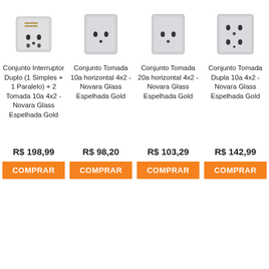[Figure (photo): Product image: Conjunto Interruptor Duplo - electrical switch/outlet plate, silver mirrored]
Conjunto Interruptor Duplo (1 Simples + 1 Paralelo) + 2 Tomada 10a 4x2 - Novara Glass Espelhada Gold
R$ 198,99
[Figure (photo): Product image: Conjunto Tomada 10a horizontal - electrical outlet plate, silver mirrored]
Conjunto Tomada 10a horizontal 4x2 - Novara Glass Espelhada Gold
R$ 98,20
COMPRAR
[Figure (photo): Product image: Conjunto Tomada 20a horizontal - electrical outlet plate, silver mirrored]
Conjunto Tomada 20a horizontal 4x2 - Novara Glass Espelhada Gold
R$ 103,29
COMPRAR
[Figure (photo): Product image: Conjunto Tomada Dupla 10a - electrical outlet plate, silver mirrored]
Conjunto Tomada Dupla 10a 4x2 - Novara Glass Espelhada Gold
R$ 142,99
COMPRAR